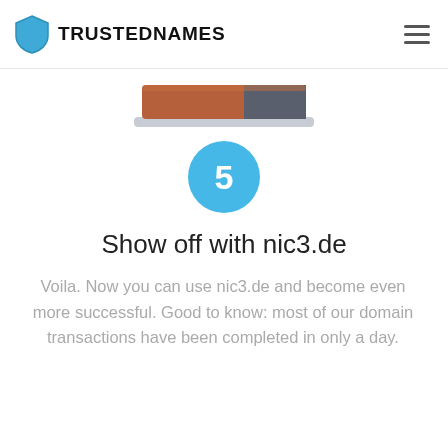TRUSTEDNAMES
[Figure (illustration): A stylized illustration of a domain name transfer or card/strip element with brown and dark grey horizontal bands on a light grey base, partially cropped at top.]
[Figure (infographic): A blue circle with the number 5 in white, representing step 5.]
Show off with nic3.de
Voila. Now you can use nic3.de and become even more successful. Good to know: most of our domain transactions have been completed in only a day.